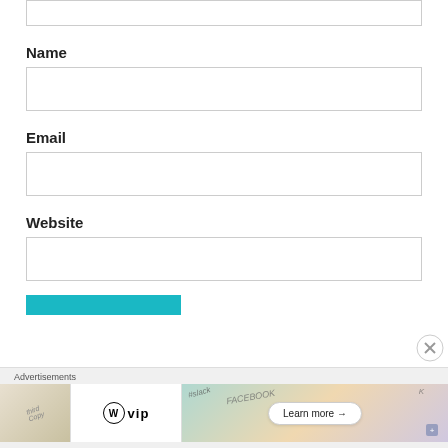[textarea top - cropped]
Name
[Figure (screenshot): Empty text input field for Name]
Email
[Figure (screenshot): Empty text input field for Email]
Website
[Figure (screenshot): Empty text input field for Website]
[Figure (screenshot): Teal/cyan submit button (partially visible)]
[Figure (screenshot): Close/dismiss button (X in circle)]
Advertisements
[Figure (screenshot): Advertisement banner with WordPress VIP logo and 'Learn more →' button, colorful background with social media icons]